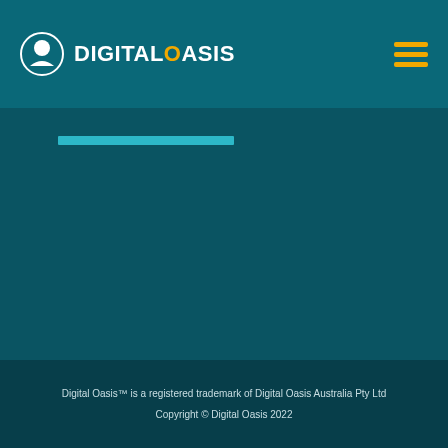DIGITAL OASIS
Digital Oasis™ is a registered trademark of Digital Oasis Australia Pty Ltd
Copyright © Digital Oasis 2022